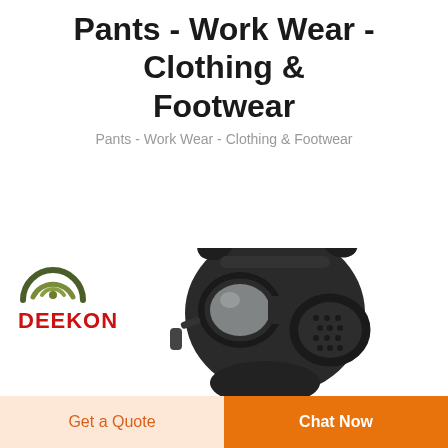Pants - Work Wear - Clothing & Footwear
Pants - Work Wear - Clothing & Footwear
LEARN MORE
[Figure (photo): DEEKON logo and a black military-style gas mask / respirator shown from the front-right angle, with large circular eye lenses and filter canister on the right side.]
Get a Quote
Chat Now